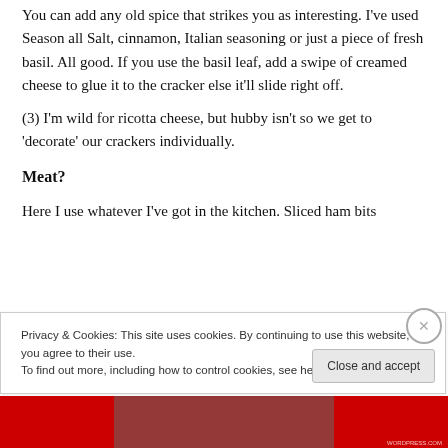You can add any old spice that strikes you as interesting. I've used Season all Salt, cinnamon, Italian seasoning or just a piece of fresh basil. All good. If you use the basil leaf, add a swipe of creamed cheese to glue it to the cracker else it'll slide right off.
(3) I'm wild for ricotta cheese, but hubby isn't so we get to 'decorate' our crackers individually.
Meat?
Here I use whatever I've got in the kitchen. Sliced ham bits are always a nice bite of the...
Privacy & Cookies: This site uses cookies. By continuing to use this website, you agree to their use.
To find out more, including how to control cookies, see here: Cookie Policy
[Figure (photo): Bottom image strip with red background and partially visible food photo]